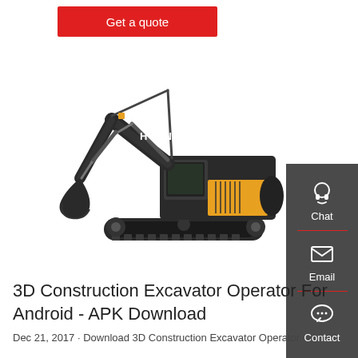Get a quote
[Figure (photo): A Hyundai construction excavator (tracked, with yellow accents and black body) shown in profile view against a white background.]
3D Construction Excavator Operator For Android - APK Download
Dec 21, 2017 · Download 3D Construction Excavator Operator